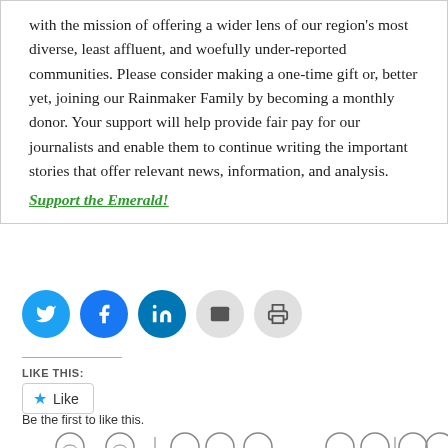with the mission of offering a wider lens of our region's most diverse, least affluent, and woefully under-reported communities. Please consider making a one-time gift or, better yet, joining our Rainmaker Family by becoming a monthly donor. Your support will help provide fair pay for our journalists and enable them to continue writing the important stories that offer relevant news, information, and analysis. Support the Emerald!
[Figure (infographic): Row of circular social media share buttons: Twitter (blue), Facebook (blue), LinkedIn (blue), Email (grey), Print (grey)]
LIKE THIS:
[Figure (infographic): WordPress-style Like button with a star icon and the word 'Like']
Be the first to like this.
[Figure (illustration): Row of cartoon face illustrations showing people seated, partially cropped at the bottom of the page]